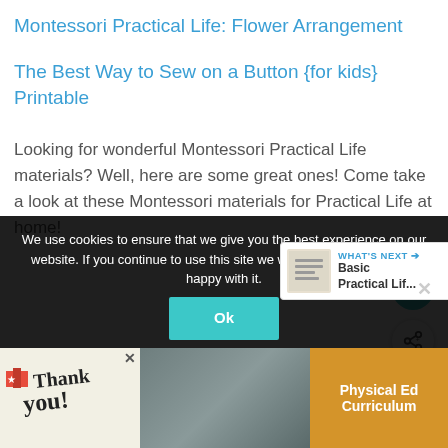Montessori Practical Life: Flower Arrangement
The Best Way to Sew on a Button {for kids} Printable
Looking for wonderful Montessori Practical Life materials? Well, here are some great ones! Come take a look at these Montessori materials for Practical Life at home!
We use cookies to ensure that we give you the best experience on our website. If you continue to use this site we will assume that you are happy with it.
WHAT'S NEXT → Basic Practical Lif...
Physical Ed Curriculum
Thank you!